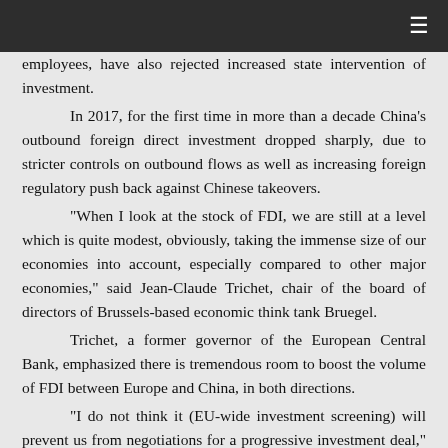≡
employees, have also rejected increased state intervention of investment.
In 2017, for the first time in more than a decade China's outbound foreign direct investment dropped sharply, due to stricter controls on outbound flows as well as increasing foreign regulatory push back against Chinese takeovers.
"When I look at the stock of FDI, we are still at a level which is quite modest, obviously, taking the immense size of our economies into account, especially compared to other major economies," said Jean-Claude Trichet, chair of the board of directors of Brussels-based economic think tank Bruegel.
Trichet, a former governor of the European Central Bank, emphasized there is tremendous room to boost the volume of FDI between Europe and China, in both directions.
"I do not think it (EU-wide investment screening) will prevent us from negotiations for a progressive investment deal," he said, referring to the EU-China investment agreement.